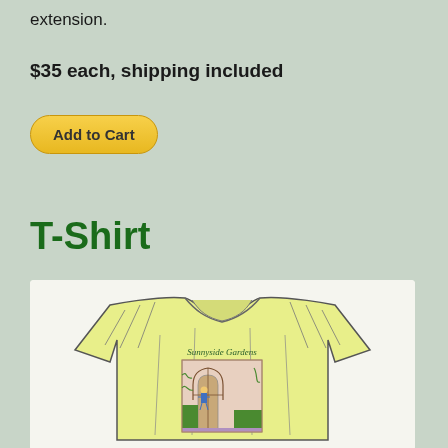extension.
$35 each, shipping included
Add to Cart
T-Shirt
[Figure (illustration): Yellow t-shirt with 'Sunnyside Gardens' text and a garden scene graphic on the front showing a figure near an arched doorway with plants]